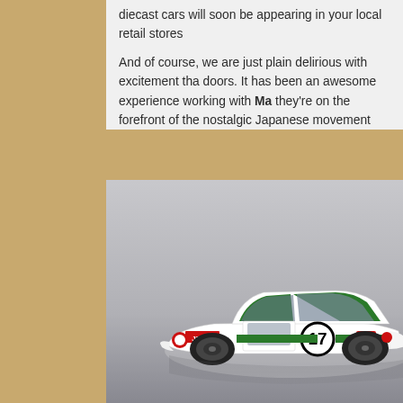diecast cars will soon be appearing in your local retail stores
And of course, we are just plain delirious with excitement tha... doors. It has been an awesome experience working with Ma... they're on the forefront of the nostalgic Japanese movement...
[Figure (photo): A white diecast racing car with green stripes and the number 17, featuring 'JEN-S' livery and red accents, photographed on a reflective surface against a gray background. The car appears to be a Japanese classic (Nissan Skyline style) race car model.]